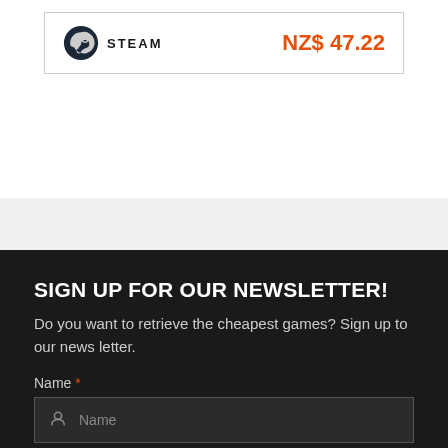[Figure (logo): Steam logo icon with Steam text label]
NZ$ 47.22
SIGN UP FOR OUR NEWSLETTER!
Do you want to retrieve the cheapest games? Sign up to our news letter.
Name *
Name (input field placeholder)
E-mail *
E-mail (input field placeholder)